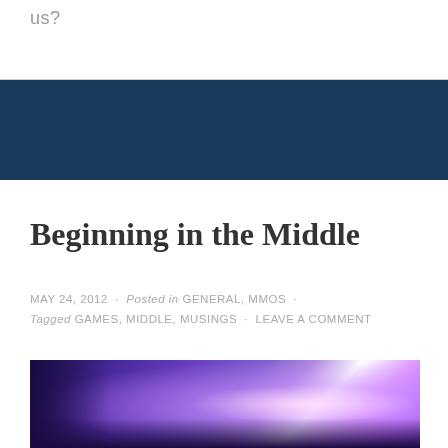us?
Beginning in the Middle
MAY 24, 2012 · Posted in GENERAL, MMOS · Tagged GAMES, MIDDLE, MUSINGS · LEAVE A COMMENT
[Figure (photo): Fantasy/MMO game artwork showing a dramatic purple and blue magical scene with bright light burst in the center-right, dark silhouetted landscape elements on the left.]